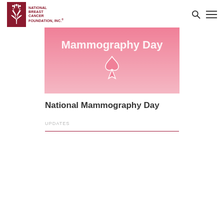National Breast Cancer Foundation, Inc.
[Figure (illustration): Pink gradient banner with white text 'Mammography Day' and a pink breast cancer awareness ribbon icon in the center.]
National Mammography Day
UPDATES